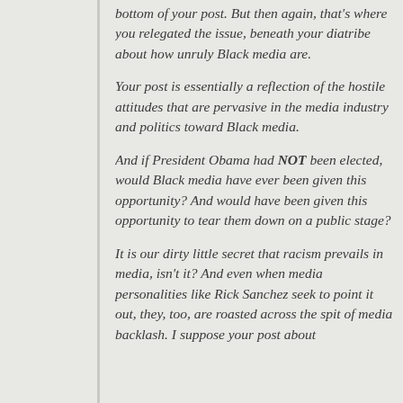bottom of your post. But then again, that's where you relegated the issue, beneath your diatribe about how unruly Black media are.
Your post is essentially a reflection of the hostile attitudes that are pervasive in the media industry and politics toward Black media.
And if President Obama had NOT been elected, would Black media have ever been given this opportunity? And would have been given this opportunity to tear them down on a public stage?
It is our dirty little secret that racism prevails in media, isn't it? And even when media personalities like Rick Sanchez seek to point it out, they, too, are roasted across the spit of media backlash. I suppose your post about